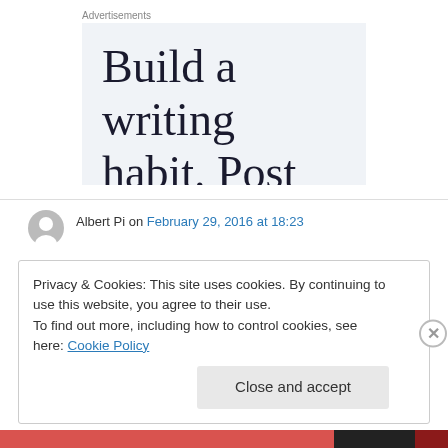Advertisements
[Figure (screenshot): Advertisement banner with light blue-gray background showing large serif text: 'Build a writing habit. Post on the go.']
Albert Pi on February 29, 2016 at 18:23
Privacy & Cookies: This site uses cookies. By continuing to use this website, you agree to their use.
To find out more, including how to control cookies, see here: Cookie Policy
Close and accept